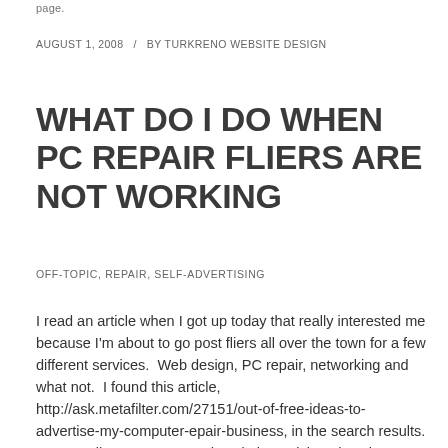page.
AUGUST 1, 2008  /  BY TURKRENO WEBSITE DESIGN
WHAT DO I DO WHEN PC REPAIR FLIERS ARE NOT WORKING
OFF-TOPIC, REPAIR, SELF-ADVERTISING
I read an article when I got up today that really interested me because I'm about to go post fliers all over the town for a few different services.  Web design, PC repair, networking and what not.  I found this article, http://ask.metafilter.com/27151/out-of-free-ideas-to-advertise-my-computer-epair-business, in the search results. I eventually got to a pretty descriptive article at koozie.org, that was very good.